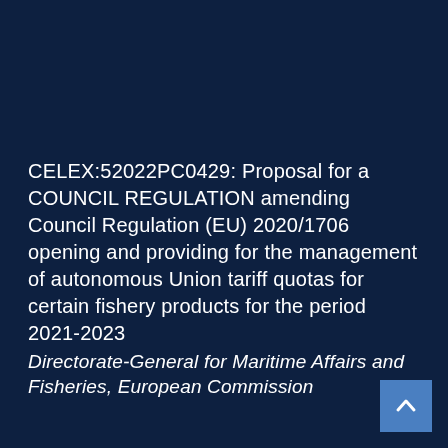CELEX:52022PC0429: Proposal for a COUNCIL REGULATION amending Council Regulation (EU) 2020/1706 opening and providing for the management of autonomous Union tariff quotas for certain fishery products for the period 2021-2023
Directorate-General for Maritime Affairs and Fisheries, European Commission